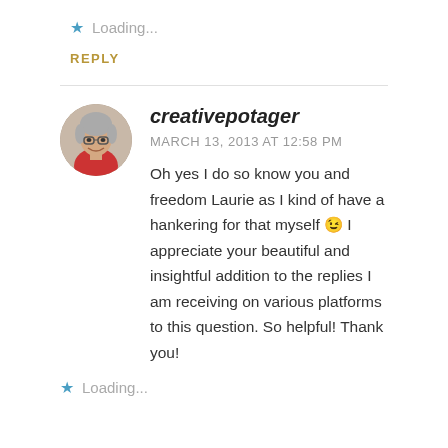★ Loading...
REPLY
creativepotager
MARCH 13, 2013 AT 12:58 PM
Oh yes I do so know you and freedom Laurie as I kind of have a hankering for that myself 😉 I appreciate your beautiful and insightful addition to the replies I am receiving on various platforms to this question. So helpful! Thank you!
★ Loading...